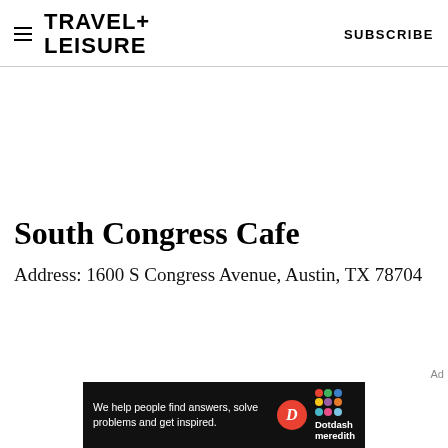TRAVEL+ LEISURE  SUBSCRIBE
South Congress Cafe
Address: 1600 S Congress Avenue, Austin, TX 78704
[Figure (other): Dotdash Meredith advertisement banner: 'We help people find answers, solve problems and get inspired.' with Dotdash Meredith logo on black background]